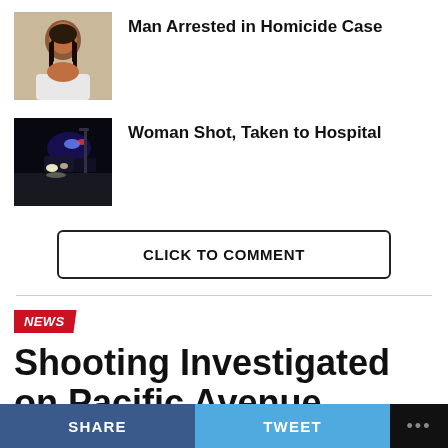[Figure (photo): Mugshot of a man with dreadlocks wearing a white shirt]
Man Arrested in Homicide Case
[Figure (photo): Nighttime street scene with police lights and vehicles]
Woman Shot, Taken to Hospital
CLICK TO COMMENT
NEWS
Shooting Investigated on Pacific Avenue
SHARE
TWEET
•••